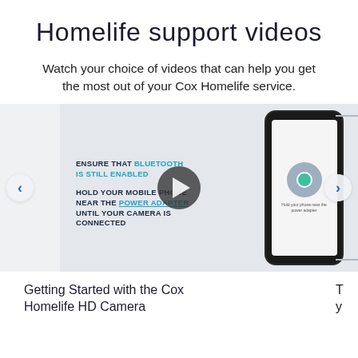Homelife support videos
Watch your choice of videos that can help you get the most out of your Cox Homelife service.
[Figure (screenshot): A video player thumbnail showing a how-to screen for connecting a Cox Homelife HD Camera via Bluetooth. The screen shows text: ENSURE THAT BLUETOOTH IS STILL ENABLED, HOLD YOUR MOBILE PHONE NEAR THE POWER ADAPTER, UNTIL YOUR CAMERA IS CONNECTED. A play button is overlaid in the center. A phone image is on the right side. Navigation arrows appear on both sides.]
Getting Started with the Cox Homelife HD Camera
T y